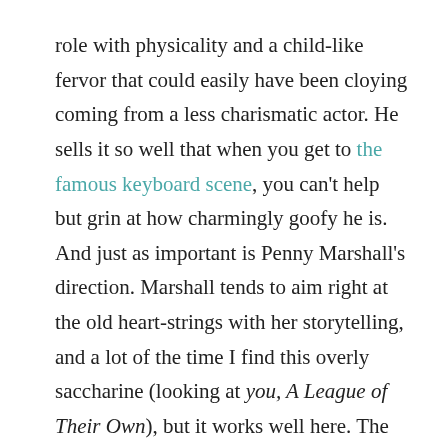role with physicality and a child-like fervor that could easily have been cloying coming from a less charismatic actor. He sells it so well that when you get to the famous keyboard scene, you can't help but grin at how charmingly goofy he is. And just as important is Penny Marshall's direction. Marshall tends to aim right at the old heart-strings with her storytelling, and a lot of the time I find this overly saccharine (looking at you, A League of Their Own), but it works well here. The opening montage of Josh and his best friend Billy is a depiction of young male friendship that's so heartfelt and honest that it could only have been directed by a woman.
There are some delightful little nuances that Marshall brings out as well. Like when Josh encounters his mom after getting embiggened. She's defensive, giving him her